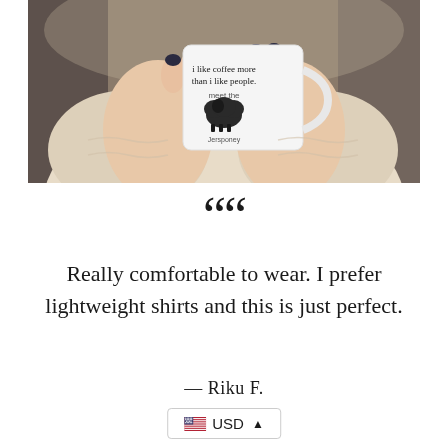[Figure (photo): A person holding a white coffee mug that reads 'I like coffee more than I like people' with a black sheep illustration, hiding their face behind the mug. They are wearing a cream/beige knit sweater and have dark navy nail polish.]
““
Really comfortable to wear. I prefer lightweight shirts and this is just perfect.
— Riku F.
USD